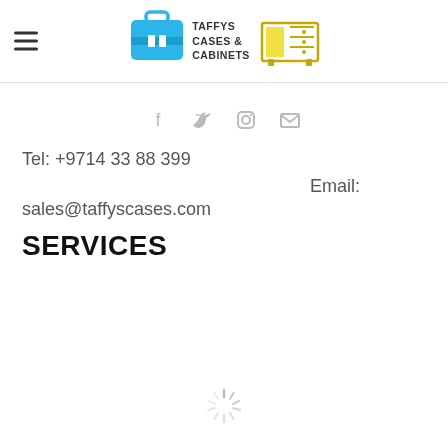Taffy's Cases & Cabinets — navigation header with logo
[Figure (logo): Taffy's Cases & Cabinets logo with briefcase icon and cabinet icon]
[Figure (infographic): Social media icons: Facebook, Twitter, Instagram, Email]
Tel: +9714 33 88 399
Email:
sales@taffyscases.com
SERVICES
[Figure (other): Loading spinner icon]